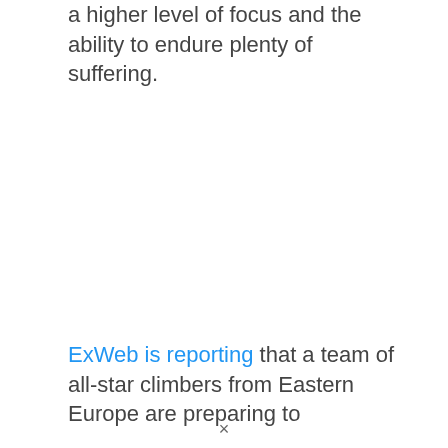a higher level of focus and the ability to endure plenty of suffering.
ExWeb is reporting that a team of all-star climbers from Eastern Europe are preparing to
×